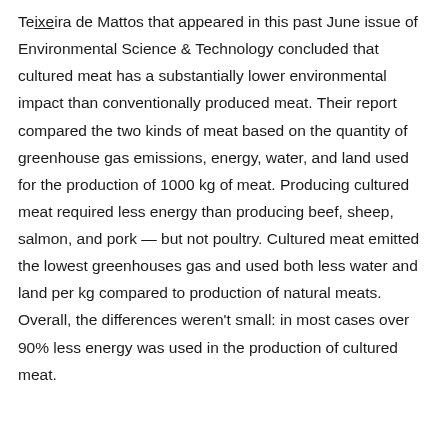Teixeira de Mattos that appeared in this past June issue of Environmental Science & Technology concluded that cultured meat has a substantially lower environmental impact than conventionally produced meat. Their report compared the two kinds of meat based on the quantity of greenhouse gas emissions, energy, water, and land used for the production of 1000 kg of meat. Producing cultured meat required less energy than producing beef, sheep, salmon, and pork — but not poultry. Cultured meat emitted the lowest greenhouses gas and used both less water and land per kg compared to production of natural meats. Overall, the differences weren't small: in most cases over 90% less energy was used in the production of cultured meat.